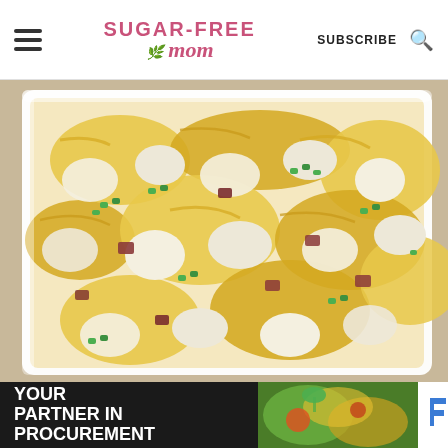Sugar-Free Mom | SUBSCRIBE
[Figure (photo): Close-up of a baked casserole dish with cauliflower, melted cheddar cheese, diced bacon, and chopped green onions in a white baking dish]
[Figure (infographic): Advertisement banner: 'YOUR PARTNER IN PROCUREMENT' with Foodbuy Foodservice logo on dark background]